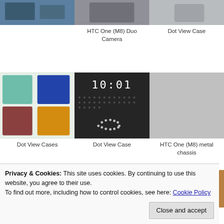[Figure (photo): Top row of three photos: phone accessories/camera, HTC One M8 Duo Camera, Dot View Case]
HTC One (M8) Duo Camera
Dot View Case
[Figure (photo): Middle row: Dot View Cases (colorful cases), Dot View Case (dark with cloud icon), HTC One (M8) metal chassis]
Dot View Cases
Dot View Case
HTC One (M8) metal chassis
[Figure (photo): Bottom row of three partially visible photos]
Privacy & Cookies: This site uses cookies. By continuing to use this website, you agree to their use.
To find out more, including how to control cookies, see here: Cookie Policy
Close and accept